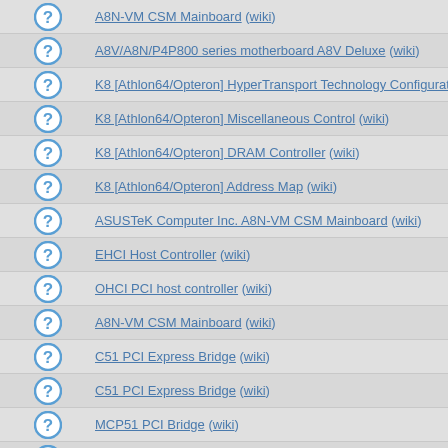A8N-VM CSM Mainboard (wiki)
A8V/A8N/P4P800 series motherboard A8V Deluxe (wiki)
K8 [Athlon64/Opteron] HyperTransport Technology Configuration (wiki)
K8 [Athlon64/Opteron] Miscellaneous Control (wiki)
K8 [Athlon64/Opteron] DRAM Controller (wiki)
K8 [Athlon64/Opteron] Address Map (wiki)
ASUSTeK Computer Inc. A8N-VM CSM Mainboard (wiki)
EHCI Host Controller (wiki)
OHCI PCI host controller (wiki)
A8N-VM CSM Mainboard (wiki)
C51 PCI Express Bridge (wiki)
C51 PCI Express Bridge (wiki)
MCP51 PCI Bridge (wiki)
C51 PCI Express Bridge (wiki)
A8N-VM CSM Mainboard (wiki)